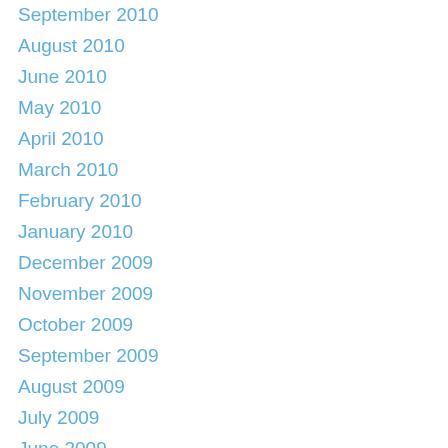September 2010
August 2010
June 2010
May 2010
April 2010
March 2010
February 2010
January 2010
December 2009
November 2009
October 2009
September 2009
August 2009
July 2009
June 2009
May 2009
April 2009
March 2009
February 2009
January 2009